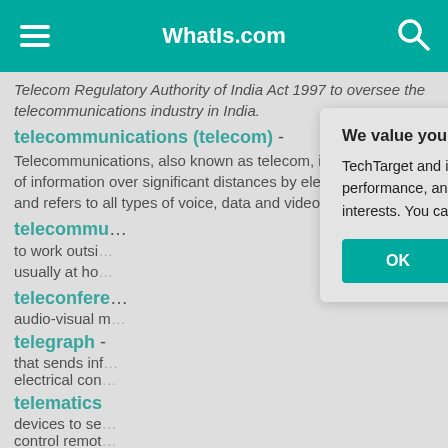WhatIs.com
Telecom Regulatory Authority of India Act 1997 to oversee the telecommunications industry in India.
telecommunications (telecom) -
Telecommunications, also known as telecom, is the exchange of information over significant distances by electronic means and refers to all types of voice, data and video transmission.
telecommu...
to work outside... usually at ho...
teleconfere...
audio-visual m...
telegraph -
that sends inf... electrical con...
telematics
devices to se... control remot... industry.
telemedicin...
[Figure (screenshot): Privacy consent modal dialog overlay on WhatIs.com page. The modal reads 'We value your privacy.' with text about TechTarget cookies, links to manage your settings and Privacy Policy, and OK / Settings buttons.]